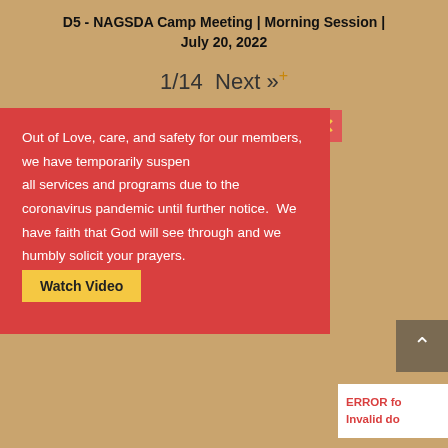D5 - NAGSDA Camp Meeting | Morning Session | July 20, 2022
1/14  Next »
Out of Love, care, and safety for our members, we have temporarily suspended all services and programs due to the coronavirus pandemic until further notice.  We have faith that God will see through and we humbly solicit your prayers. Watch Video
ERROR fo Invalid do